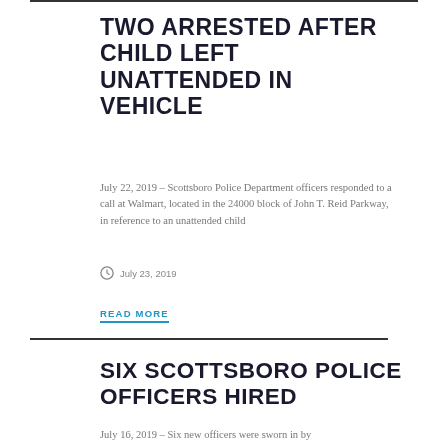TWO ARRESTED AFTER CHILD LEFT UNATTENDED IN VEHICLE
July 22, 2019 – Scottsboro Police Department officers responded to a call at Walmart, located in the 24000 block of John T. Reid Parkway, in reference to an unattended child
July 23, 2019
READ MORE
SIX SCOTTSBORO POLICE OFFICERS HIRED
July 16, 2019 – Six new officers were sworn in by